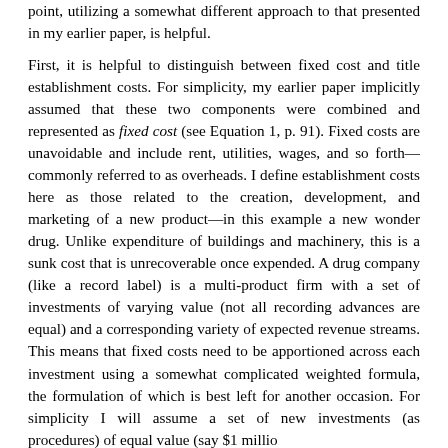point, utilizing a somewhat different approach to that presented in my earlier paper, is helpful.
First, it is helpful to distinguish between fixed cost and title establishment costs. For simplicity, my earlier paper implicitly assumed that these two components were combined and represented as fixed cost (see Equation 1, p. 91). Fixed costs are unavoidable and include rent, utilities, wages, and so forth—commonly referred to as overheads. I define establishment costs here as those related to the creation, development, and marketing of a new product—in this example a new wonder drug. Unlike expenditure of buildings and machinery, this is a sunk cost that is unrecoverable once expended. A drug company (like a record label) is a multi-product firm with a set of investments of varying value (not all recording advances are equal) and a corresponding variety of expected revenue streams. This means that fixed costs need to be apportioned across each investment using a somewhat complicated weighted formula, the formulation of which is best left for another occasion. For simplicity I will assume a set of new investments (as procedures) of equal value (say $1 millio